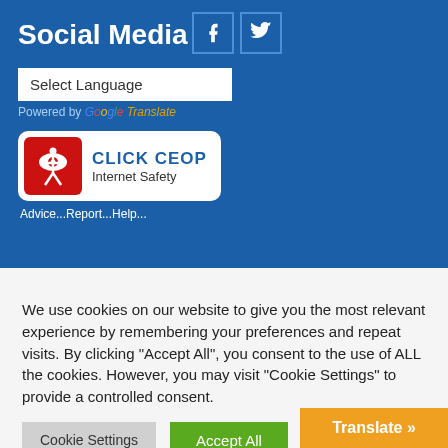Social Media
[Figure (logo): Facebook and Twitter social media icon buttons on blue background]
[Figure (other): Select Language dropdown with Powered by Google Translate text]
[Figure (logo): CLICK CEOP Internet Safety badge with red logo and text Advice...Report...Help...]
We use cookies on our website to give you the most relevant experience by remembering your preferences and repeat visits. By clicking "Accept All", you consent to the use of ALL the cookies. However, you may visit "Cookie Settings" to provide a controlled consent.
Cookie Settings | Accept All | Translate »